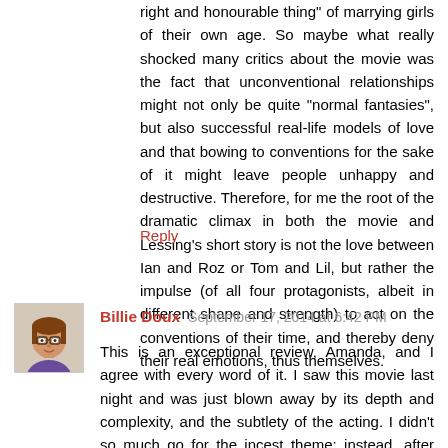right and honourable thing" of marrying girls of their own age. So maybe what really shocked many critics about the movie was the fact that unconventional relationships might not only be quite "normal fantasies", but also successful real-life models of love and that bowing to conventions for the sake of it might leave people unhappy and destructive. Therefore, for me the root of the dramatic climax in both the movie and Lessing's short story is not the love between Ian and Roz or Tom and Lil, but rather the impulse (of all four protagonists, albeit in different shape and strength) to act on the conventions of their time, and thereby deny their real emotions, thus themselves.
Reply
[Figure (illustration): Avatar image of Billie Doux - cartoon/illustration of a woman with glasses and brown/auburn hair]
Billie Doux  September 17, 2014 at 6:42 PM
This is an exceptional review, Amanda, and I agree with every word of it. I saw this movie last night and was just blown away by its depth and complexity, and the subtlety of the acting. I didn't so much go for the incest theme; instead, after that joking scene about "lezzies", it seemed to me that Roz and Lil were using each other's sons to express...